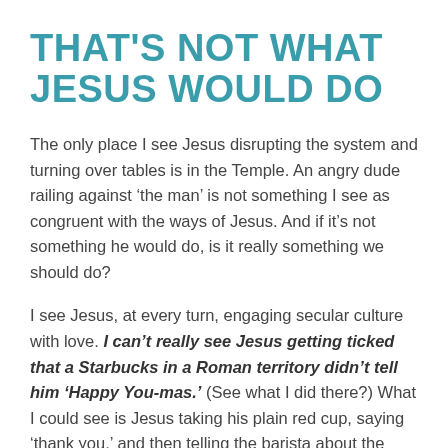THAT'S NOT WHAT JESUS WOULD DO
The only place I see Jesus disrupting the system and turning over tables is in the Temple. An angry dude railing against ‘the man’ is not something I see as congruent with the ways of Jesus. And if it’s not something he would do, is it really something we should do?
I see Jesus, at every turn, engaging secular culture with love. I can’t really see Jesus getting ticked that a Starbucks in a Roman territory didn’t tell him ‘Happy You-mas.’ (See what I did there?) What I could see is Jesus taking his plain red cup, saying ‘thank you,’ and then telling the barista about the